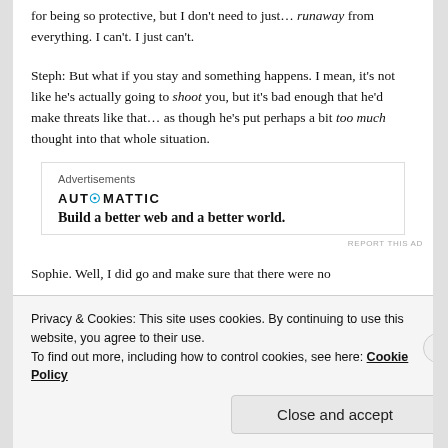for being so protective, but I don't need to just… runaway from everything. I can't. I just can't.
Steph: But what if you stay and something happens. I mean, it's not like he's actually going to shoot you, but it's bad enough that he'd make threats like that… as though he's put perhaps a bit too much thought into that whole situation.
[Figure (other): Automattic advertisement banner with logo and tagline 'Build a better web and a better world.']
Sophie. Well, I did go and make sure that there were no
Privacy & Cookies: This site uses cookies. By continuing to use this website, you agree to their use. To find out more, including how to control cookies, see here: Cookie Policy